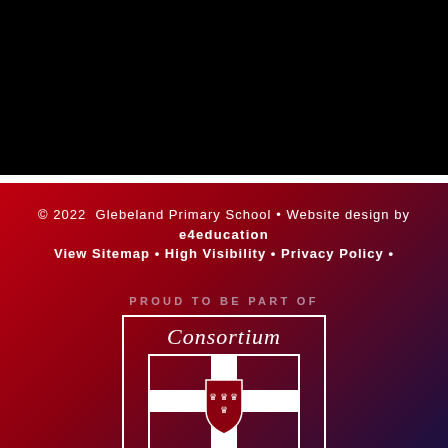[Figure (other): Black header band at top of page]
© 2022 Glebeland Primary School • Website design by e4education
View Sitemap • High Visibility • Privacy Policy •
PROUD TO BE PART OF
[Figure (logo): Consortium Trust logo — white bordered rectangle containing the text 'Consortium' in italic serif at top, a shield emblem with three crowns and a cross in the center, and 'Trust' in italic serif at the bottom, all white on dark red background]